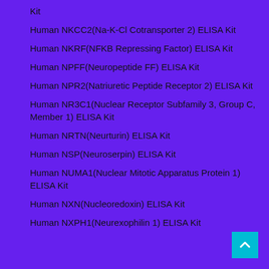Kit
Human NKCC2(Na-K-Cl Cotransporter 2) ELISA Kit
Human NKRF(NFKB Repressing Factor) ELISA Kit
Human NPFF(Neuropeptide FF) ELISA Kit
Human NPR2(Natriuretic Peptide Receptor 2) ELISA Kit
Human NR3C1(Nuclear Receptor Subfamily 3, Group C, Member 1) ELISA Kit
Human NRTN(Neurturin) ELISA Kit
Human NSP(Neuroserpin) ELISA Kit
Human NUMA1(Nuclear Mitotic Apparatus Protein 1) ELISA Kit
Human NXN(Nucleoredoxin) ELISA Kit
Human NXPH1(Neurexophilin 1) ELISA Kit